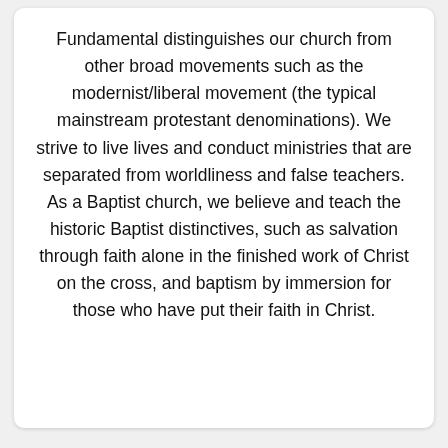Fundamental distinguishes our church from other broad movements such as the modernist/liberal movement (the typical mainstream protestant denominations). We strive to live lives and conduct ministries that are separated from worldliness and false teachers. As a Baptist church, we believe and teach the historic Baptist distinctives, such as salvation through faith alone in the finished work of Christ on the cross, and baptism by immersion for those who have put their faith in Christ.